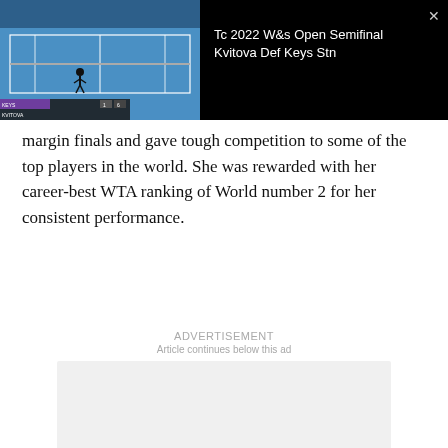[Figure (screenshot): Video overlay showing a tennis court aerial view with scoreboard, on a black background. Title reads: Tc 2022 W&s Open Semifinal Kvitova Def Keys Stn. Close button (×) in top right corner.]
margin finals and gave tough competition to some of the top players in the world. She was rewarded with her career-best WTA ranking of World number 2 for her consistent performance.
ADVERTISEMENT
Article continues below this ad